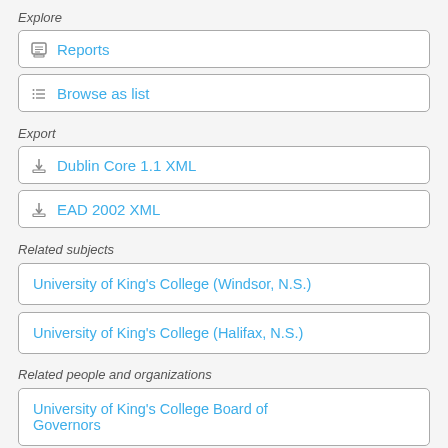Explore
Reports
Browse as list
Export
Dublin Core 1.1 XML
EAD 2002 XML
Related subjects
University of King's College (Windsor, N.S.)
University of King's College (Halifax, N.S.)
Related people and organizations
University of King's College Board of Governors